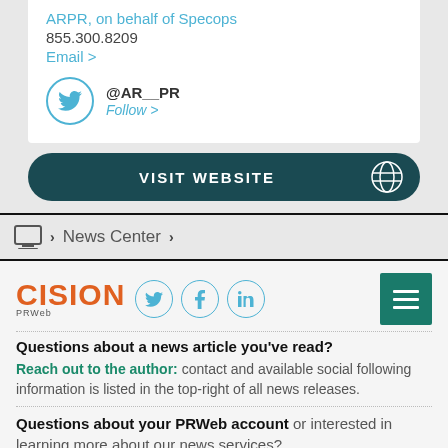ARPR, on behalf of Specops
855.300.8209
Email >
@AR__PR
Follow >
VISIT WEBSITE
> News Center >
[Figure (logo): CISION PRWeb logo with Twitter, Facebook, and LinkedIn social icons and a hamburger menu button]
Questions about a news article you've read?
Reach out to the author: contact and available social following information is listed in the top-right of all news releases.
Questions about your PRWeb account or interested in learning more about our news services?